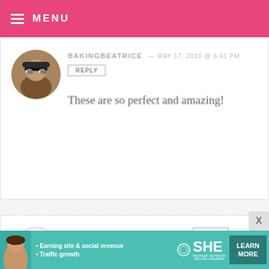MENU
BAKINGBEATRICE — MAY 17, 2010 @ 6:41 PM
REPLY
These are so perfect and amazing!
TANIA — MAY 17, 2010 @ 6:38 PM REPLY
Love you thought.. the balls w instead o this weekend, just thought I'd share the idea
[Figure (infographic): SHE Partner Network advertisement banner with woman photo, bullets: Earning site & social revenue, Traffic growth, SHE logo, LEARN MORE button]